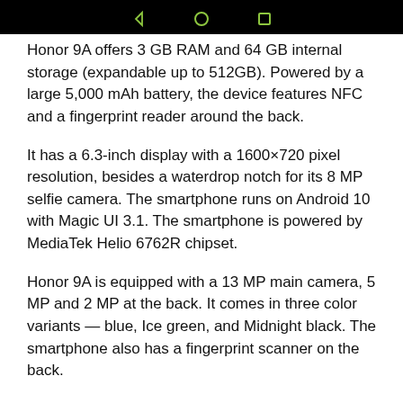[Figure (screenshot): Android navigation bar at top with green accent line and back/home/recents icons on black background]
Honor 9A offers 3 GB RAM and 64 GB internal storage (expandable up to 512GB). Powered by a large 5,000 mAh battery, the device features NFC and a fingerprint reader around the back.
It has a 6.3-inch display with a 1600×720 pixel resolution, besides a waterdrop notch for its 8 MP selfie camera. The smartphone runs on Android 10 with Magic UI 3.1. The smartphone is powered by MediaTek Helio 6762R chipset.
Honor 9A is equipped with a 13 MP main camera, 5 MP and 2 MP at the back. It comes in three color variants — blue, Ice green, and Midnight black. The smartphone also has a fingerprint scanner on the back.